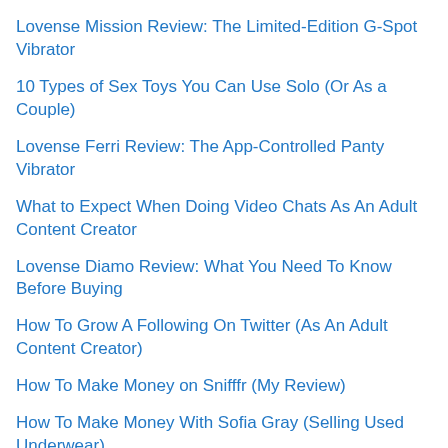Lovense Mission Review: The Limited-Edition G-Spot Vibrator
10 Types of Sex Toys You Can Use Solo (Or As a Couple)
Lovense Ferri Review: The App-Controlled Panty Vibrator
What to Expect When Doing Video Chats As An Adult Content Creator
Lovense Diamo Review: What You Need To Know Before Buying
How To Grow A Following On Twitter (As An Adult Content Creator)
How To Make Money on Snifffr (My Review)
How To Make Money With Sofia Gray (Selling Used Underwear)
How To Make Money As A Sugar Baby Online